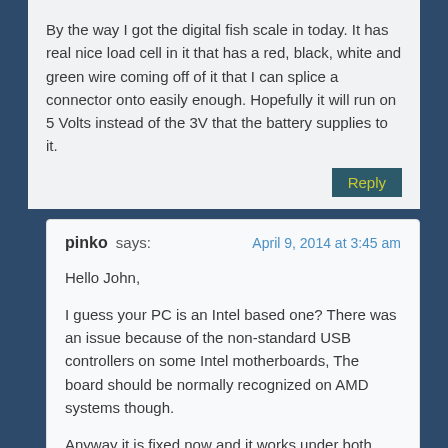By the way I got the digital fish scale in today. It has real nice load cell in it that has a red, black, white and green wire coming off of it that I can splice a connector onto easily enough. Hopefully it will run on 5 Volts instead of the 3V that the battery supplies to it.
Reply
pinko says:
April 9, 2014 at 3:45 am
Hello John,
I guess your PC is an Intel based one? There was an issue because of the non-standard USB controllers on some Intel motherboards, The board should be normally recognized on AMD systems though.
Anyway it is fixed now and it works under both AMD and Intel systems – in few days I will send the new chips to Ed so he can forward it to you with instructions.